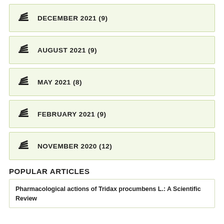DECEMBER 2021 (9)
AUGUST 2021 (9)
MAY 2021 (8)
FEBRUARY 2021 (9)
NOVEMBER 2020 (12)
POPULAR ARTICLES
Pharmacological actions of Tridax procumbens L.: A Scientific Review